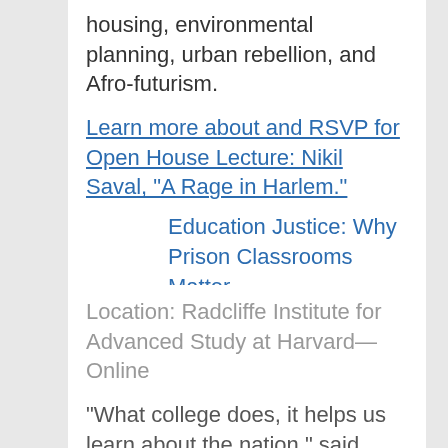housing, environmental planning, urban rebellion, and Afro-futurism.
Learn more about and RSVP for Open House Lecture: Nikil Saval, "A Rage in Harlem."
Education Justice: Why Prison Classrooms Matter
Location: Radcliffe Institute for Advanced Study at Harvard—Online
“What college does, it helps us learn about the nation,” said Rodney Spivey-Jones, a 2017 Bard College graduate currently incarcerated at